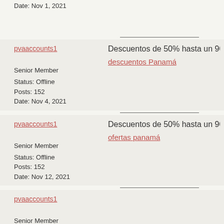Date: Nov 1, 2021
pvaaccounts1
Senior Member
Status: Offline
Posts: 152
Date: Nov 4, 2021
Descuentos de 50% hasta un 90% en lo
descuentos Panamá
pvaaccounts1
Senior Member
Status: Offline
Posts: 152
Date: Nov 12, 2021
Descuentos de 50% hasta un 90% en lo
ofertas panamá
pvaaccounts1
Senior Member